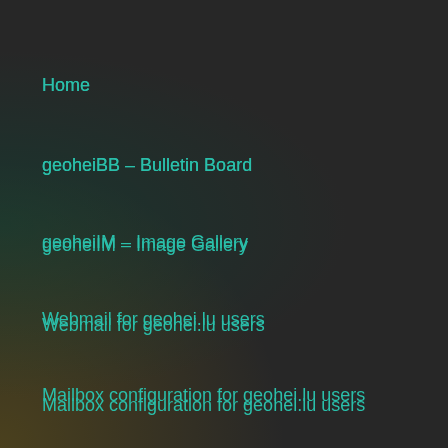Home
geoheiBB – Bulletin Board
geoheiIM – Image Gallery
Webmail for geohei.lu users
Mailbox configuration for geohei.lu users
HOSTED SITES
Mika's Blog
galerie.lu
photos-with-passion.lu
RECENT COMMENTS